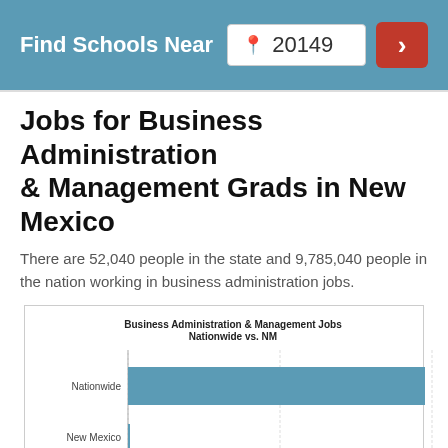Find Schools Near 20149
Jobs for Business Administration & Management Grads in New Mexico
There are 52,040 people in the state and 9,785,040 people in the nation working in business administration jobs.
[Figure (bar-chart): Business Administration & Management Jobs Nationwide vs. NM]